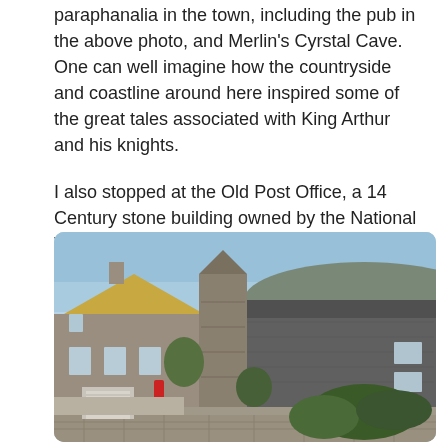paraphanalia in the town, including the pub in the above photo, and Merlin's Cyrstal Cave. One can well imagine how the countryside and coastline around here inspired some of the great tales associated with King Arthur and his knights.
I also stopped at the Old Post Office, a 14 Century stone building owned by the National Trust now.
[Figure (photo): Photograph of the Old Post Office, a 14th century stone building. The image shows a historic stone structure with irregular rooflines, a central tower element, and surrounding greenery. There is a white gate visible at the lower left, a red postbox on the wall, and a clear blue sky in the background.]